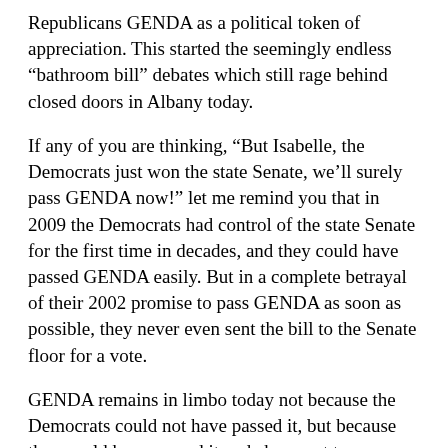Republicans GENDA as a political token of appreciation. This started the seemingly endless “bathroom bill” debates which still rage behind closed doors in Albany today.
If any of you are thinking, “But Isabelle, the Democrats just won the state Senate, we’ll surely pass GENDA now!” let me remind you that in 2009 the Democrats had control of the state Senate for the first time in decades, and they could have passed GENDA easily. But in a complete betrayal of their 2002 promise to pass GENDA as soon as possible, they never even sent the bill to the Senate floor for a vote.
GENDA remains in limbo today not because the Democrats could not have passed it, but because they could have passed it and chose not to.
Learning this history, along with seeing how little the Democrats got done when they controlled the something history for the first common of Albany